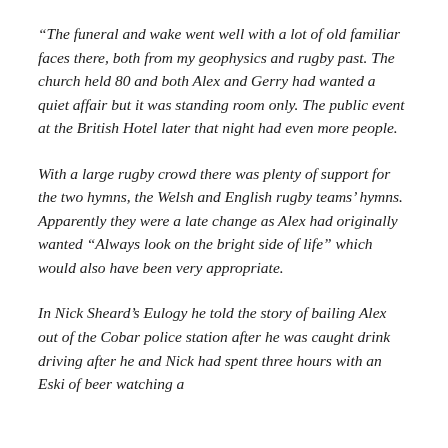“The funeral and wake went well with a lot of old familiar faces there, both from my geophysics and rugby past. The church held 80 and both Alex and Gerry had wanted a quiet affair but it was standing room only. The public event at the British Hotel later that night had even more people.
With a large rugby crowd there was plenty of support for the two hymns, the Welsh and English rugby teams’ hymns. Apparently they were a late change as Alex had originally wanted “Always look on the bright side of life” which would also have been very appropriate.
In Nick Sheard’s Eulogy he told the story of bailing Alex out of the Cobar police station after he was caught drink driving after he and Nick had spent three hours with an Eski of beer watching a